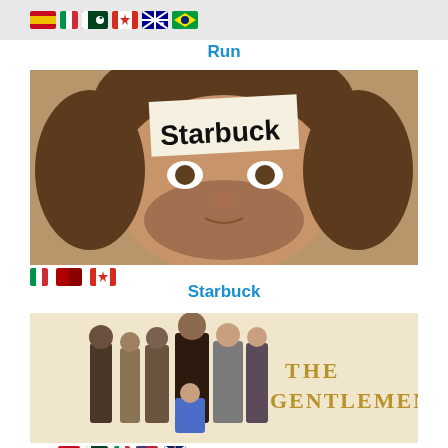[Figure (photo): Flag icons for Spain, Italy, Pakistan, Canada, Australia, Brazil shown in a grey banner strip for 'Run']
Run
[Figure (photo): Movie poster for 'Starbuck' showing a man's face with a sticky note on his forehead reading 'STARBUCK']
[Figure (photo): Flag icons for Italy, unknown, Canada shown below the Starbuck poster]
Starbuck
[Figure (photo): Movie poster for 'The Gentlemen' showing a group of men on the left and the title 'THE GENTLEMEN' in gold letters on the right on a light background]
[Figure (photo): Flag icons for multiple countries shown at the bottom below The Gentlemen poster]